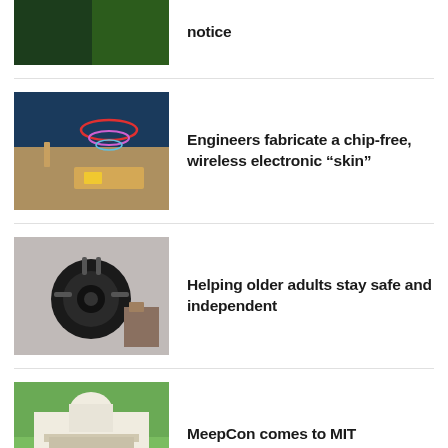[Figure (photo): Two medical/surgical images side by side with green tones]
notice
[Figure (photo): Electronic skin patch on arm with wireless coil illustration on dark blue background]
Engineers fabricate a chip-free, wireless electronic “skin”
[Figure (photo): Close-up of a black robotic wheel/motor component with a person's shoe in background]
Helping older adults stay safe and independent
[Figure (photo): MIT dome building with group of people standing in front on a sunny day]
MeepCon comes to MIT